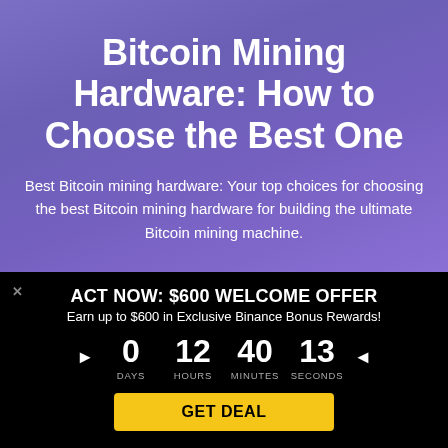Bitcoin Mining Hardware: How to Choose the Best One
Best Bitcoin mining hardware: Your top choices for choosing the best Bitcoin mining hardware for building the ultimate Bitcoin mining machine.
ACT NOW: $600 WELCOME OFFER
Earn up to $600 in Exclusive Binance Bonus Rewards!
▶ 0 DAYS  12 HOURS  40 MINUTES  13 SECONDS ◀
GET DEAL